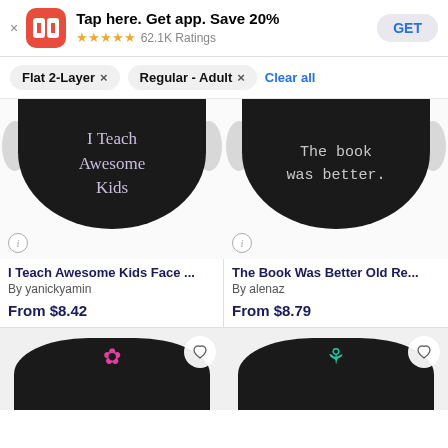[Figure (screenshot): App banner for Redbubble: RB logo (red rounded square), text 'Tap here. Get app. Save 20%', 5 stars, 62.1K Ratings, GET button]
Flat 2-Layer × | Regular - Adult × | Clear all
[Figure (photo): Black face mask with text 'I Teach Awesome Kids' in light purple serif font]
I Teach Awesome Kids Face ...
By yanickyamin
From $8.42
[Figure (photo): Black face mask with text 'The book was better.' in light gray monospace font]
The Book Was Better Old Re...
By alenaz
From $8.79
[Figure (photo): Black face mask with pink flower/star design (partial, cut off at bottom)]
[Figure (photo): Black face mask with teal/green design (partial, cut off at bottom)]